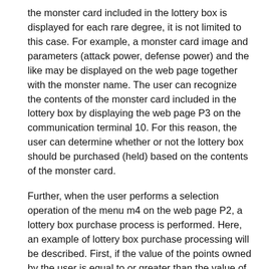the monster card included in the lottery box is displayed for each rare degree, it is not limited to this case. For example, a monster card image and parameters (attack power, defense power) and the like may be displayed on the web page together with the monster name. The user can recognize the contents of the monster card included in the lottery box by displaying the web page P3 on the communication terminal 10. For this reason, the user can determine whether or not the lottery box should be purchased (held) based on the contents of the monster card.
Further, when the user performs a selection operation of the menu m4 on the web page P2, a lottery box purchase process is performed. Here, an example of lottery box purchase processing will be described. First, if the value of the points owned by the user is equal to or greater than the value of the lottery box, the lottery box purchase process ends normally by subtracting the value of the lottery box from the value of the user's points To do. On the other hand, if the value of the point is less than the value of the consideration of the lottery box, the lottery box purchase process ends abnormally. If the lottery box purchase